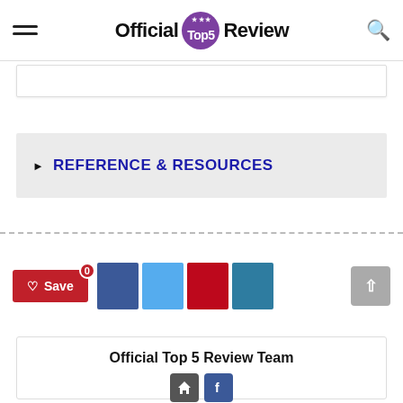Official Top5 Review
REFERENCE & RESOURCES
[Figure (screenshot): Social share bar with Save button showing 0 saves, and four social media colored squares (Facebook blue, Twitter light blue, Pinterest red, LinkedIn teal), plus a back-to-top arrow button]
Official Top 5 Review Team